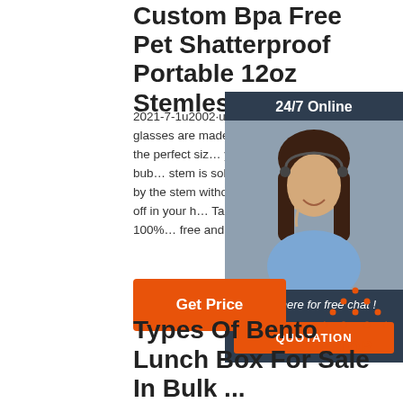Custom Bpa Free Pet Shatterproof Portable 12oz Stemless ...
2021-7-1u2002·u2002TaZa plastic wine glasses are made of shatterproof Tritan. They're the perfect size for your favorite red, white or bub… stem is solid, so you can hold the glass by the stem without worrying about it breaking off in your h… TaZa wine glasses are 100% BPA-free and EA-free… Get Price
[Figure (photo): Customer service representative with headset, 24/7 Online chat widget overlay with dark navy background, 'Click here for free chat!' text and orange QUOTATION button]
Click here for free chat !
QUOTATION
[Figure (logo): Orange dotted triangle TOP button icon with orange text 'TOP']
Types Of Bento Lunch Box For Sale In Bulk ...